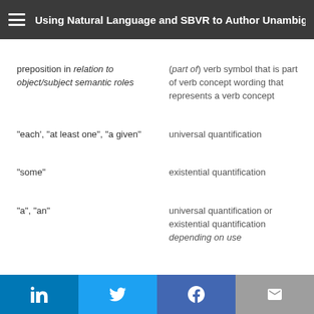Using Natural Language and SBVR to Author Unambiguous Bu
| Left | Right |
| --- | --- |
| preposition in relation to object/subject semantic roles | (part of) verb symbol that is part of verb concept wording that represents a verb concept |
| "each', "at least one", "a given" | universal quantification |
| "some" | existential quantification |
| "a", "an" | universal quantification or existential quantification depending on use |
in  [Twitter bird]  f  [envelope]